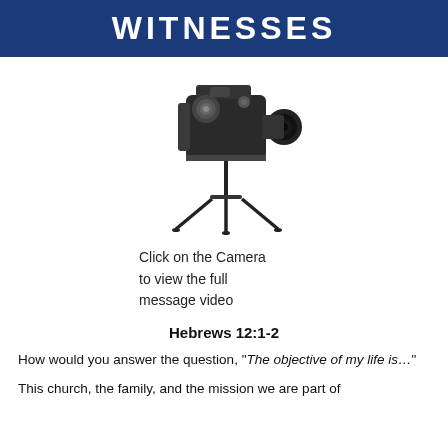WITNESSES
[Figure (photo): A vintage film camera on a small tripod, black and metallic, white background.]
Click on the Camera to view the full message video
Hebrews 12:1-2
How would you answer the question, “The objective of my life is…”
This church, the family, and the mission we are part of